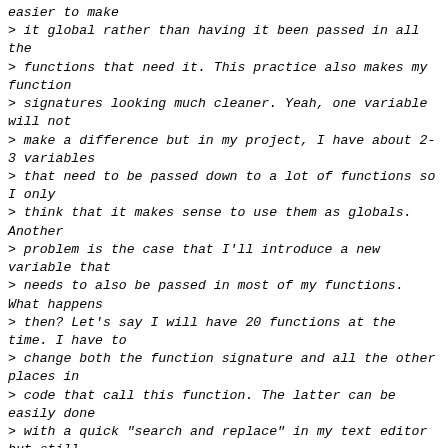easier to make
> it global rather than having it been passed in all the
> functions that need it. This practice also makes my function
> signatures looking much cleaner. Yeah, one variable will not
> make a difference but in my project, I have about 2-3 variables
> that need to be passed down to a lot of functions so I only
> think that it makes sense to use them as globals. Another
> problem is the case that I'll introduce a new variable that
> needs to also be passed in most of my functions. What happens
> then? Let's say I will have 20 functions at the time. I have to
> change both the function signature and all the other places in
> code that call this function. The latter can be easily done
> with a quick "search and replace" in my text editor but still,
> it's a tedious thing to do.
>
> So can someone make examples about how global variables can
> mess me up. I know that probably everyone here has